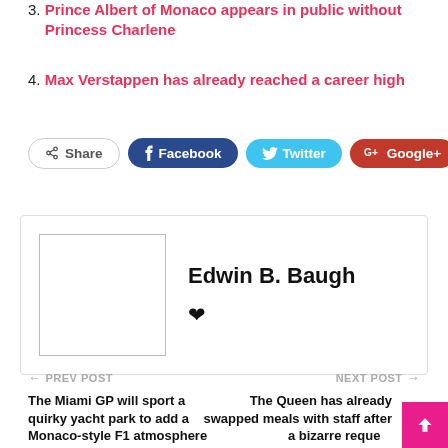3. Prince Albert of Monaco appears in public without Princess Charlene
4. Max Verstappen has already reached a career high
[Figure (infographic): Social share bar with buttons: Share, Facebook, Twitter, Google+, and a plus button]
Edwin B. Baugh
PREV POST — The Miami GP will sport a quirky yacht park to add a Monaco-style F1 atmosphere
NEXT POST — The Queen has already swapped meals with staff after a bizarre request from Prince Philip